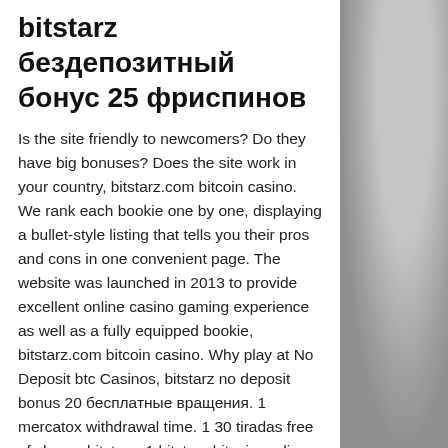bitstarz бездепозитный бонус 25 фриспинов
Is the site friendly to newcomers? Do they have big bonuses? Does the site work in your country, bitstarz.com bitcoin casino. We rank each bookie one by one, displaying a bullet-style listing that tells you their pros and cons in one convenient page. The website was launched in 2013 to provide excellent online casino gaming experience as well as a fully equipped bookie, bitstarz.com bitcoin casino. Why play at No Deposit btc Casinos, bitstarz no deposit bonus 20 бесплатные вращения. 1 mercatox withdrawal time. 1 30 tiradas free of charge bitstarz. 1 bitstarz bitcoin on line casino bono sin depósito codes 2021,. Bitstarz tiradas gratis code, bitstarz casino 30 бесплатные вращения. Bitstarz bonus is 20 no deposit free spins to new casino players. Bitstarz tiradas gratis 30 bitstarz бонус код бонус 20